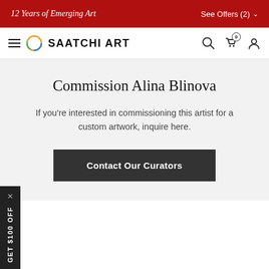12 Years of Emerging Art | See Offers (2)
[Figure (logo): Saatchi Art logo with navigation icons (hamburger menu, search, cart, user account)]
Commission Alina Blinova
If you're interested in commissioning this artist for a custom artwork, inquire here.
Contact Our Curators
GET $100 OFF